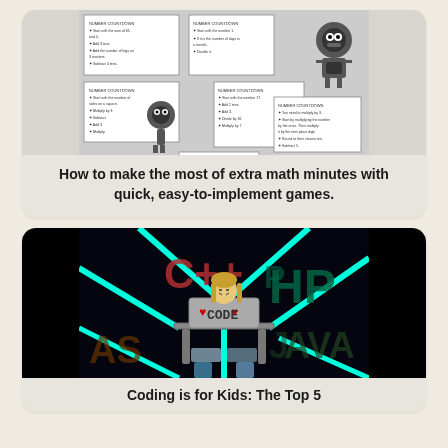[Figure (illustration): Math worksheets with robot characters — multiple cards showing math game instructions]
How to make the most of extra math minutes with quick, easy-to-implement games.
[Figure (illustration): Colorful image of a child at a desk with coding-related text (C++, PHP, Java, etc.) in the background]
Coding is for Kids: The Top 5